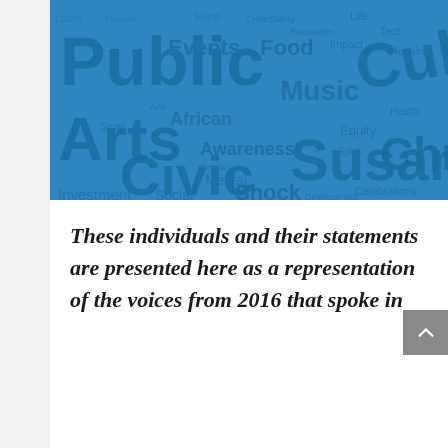[Figure (infographic): Word cloud on blue background featuring community-related terms: Public, Arts, Civic, Events, Food, Music, Sustainability, Culture, African, Awareness, Investment, Social, Mental, Shock, Christian, Housing, Health, Spirit, Celebrations, Recreation, Equity, Small, Impact, and many others in varying sizes and orientations.]
These individuals and their statements are presented here as a representation of the voices from 2016 that spoke in